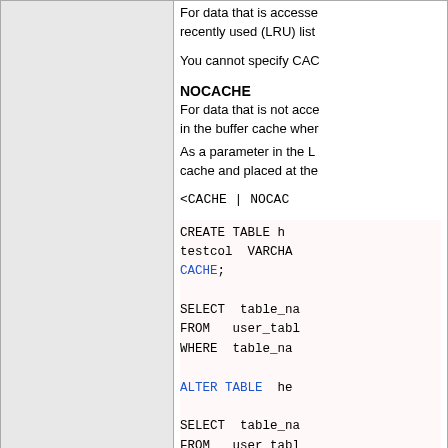|  |  |
| --- | --- |
|  | For data that is accessed... recently used (LRU) list...

You cannot specify CAC...

NOCACHE
For data that is not acce... in the buffer cache wher...

As a parameter in the L... cache and placed at the...

<CACHE | NOCAC...

CREATE TABLE h...
testcol VARCHA...
CACHE;

SELECT table_na...
FROM user_tabl...
WHERE table_na...

ALTER TABLE he...

SELECT table_na...
FROM user_tabl...
WHERE table_na... |
| FLASHBACK ARCHIVE | [NO] FLASHBACK... |